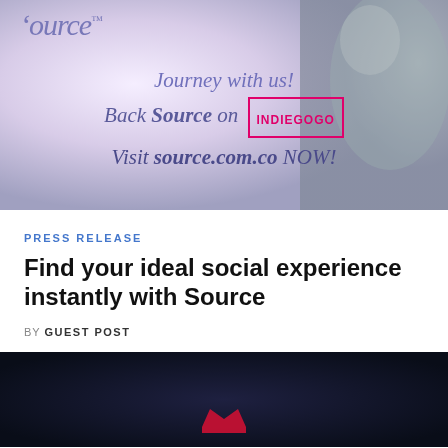[Figure (illustration): Advertisement banner for Source app showing purple/lavender background with a logo reading 'source™' in top left, text 'Journey with us! Back Source on [INDIEGOGO box] Visit source.com.co NOW!' in purple italic text, with a blurred background image of a person playing sports.]
PRESS RELEASE
Find your ideal social experience instantly with Source
BY GUEST POST
[Figure (photo): Dark navy/dark blue background image, partially visible, with a red crown or logo icon at the bottom center.]